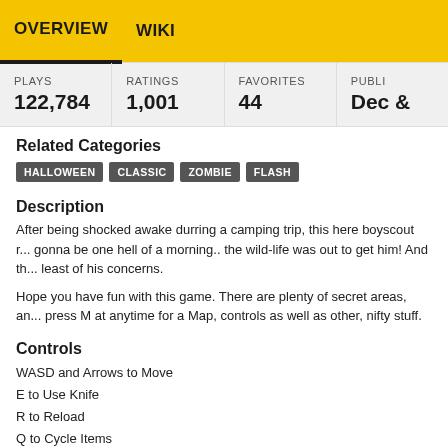OVERVIEW   WIKI
| PLAYS | RATINGS | FAVORITES | PUBLI... |
| --- | --- | --- | --- |
| 122,784 | 1,001 | 44 | Dec ... |
Related Categories
HALLOWEEN   CLASSIC   ZOMBIE   FLASH
Description
After being shocked awake durring a camping trip, this here boyscout r... gonna be one hell of a morning.. the wild-life was out to get him! And th... least of his concerns.
Hope you have fun with this game. There are plenty of secret areas, an... press M at anytime for a Map, controls as well as other, nifty stuff.
Controls
WASD and Arrows to Move
E to Use Knife
R to Reload
Q to Cycle Items
SPACE to use equipted Item